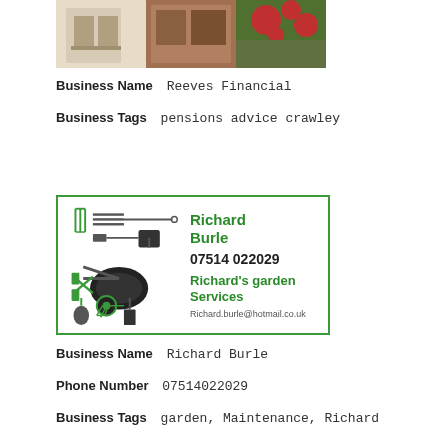[Figure (photo): Photo of a brick building with red flowers/berries]
Business Name   Reeves Financial
Business Tags   pensions advice crawley
[Figure (illustration): Business card for Richard Burle / Richard's garden Services with garden tools illustration, phone 07514 022029, email Richard.burle@hotmail.co.uk, green border]
Business Name   Richard Burle
Phone Number   07514022029
Business Tags   garden, Maintenance, Richard